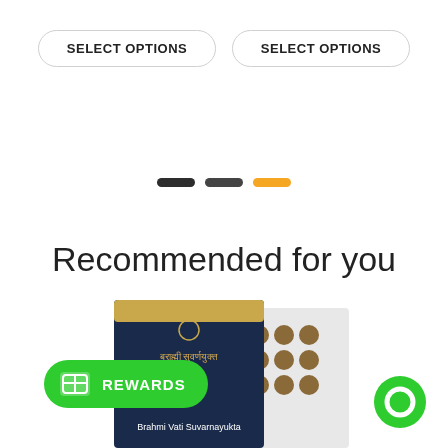SELECT OPTIONS
SELECT OPTIONS
[Figure (infographic): Three horizontal pill-shaped dots: two dark/black and one orange, used as a carousel or page indicator]
Recommended for you
[Figure (photo): Product image showing Brahmi Vati Suvarnayukta tablets box with dark blue packaging]
REWARDS
[Figure (other): Green circular chat button]